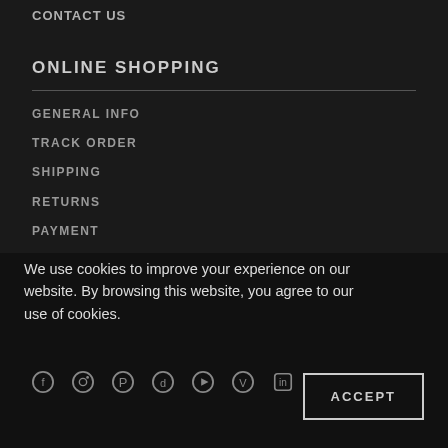CONTACT US
ONLINE SHOPPING
GENERAL INFO
TRACK ORDER
SHIPPING
RETURNS
PAYMENT
GIFT CARDS
PRIVACY & COOKIES
TERMS & CONDITIONS
FOLLOW US
We use cookies to improve your experience on our website. By browsing this website, you agree to our use of cookies.
ACCEPT